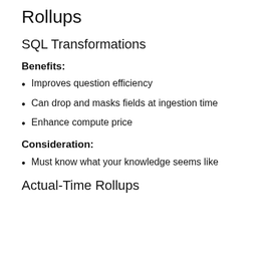Rollups
SQL Transformations
Benefits:
Improves question efficiency
Can drop and masks fields at ingestion time
Enhance compute price
Consideration:
Must know what your knowledge seems like
Actual-Time Rollups